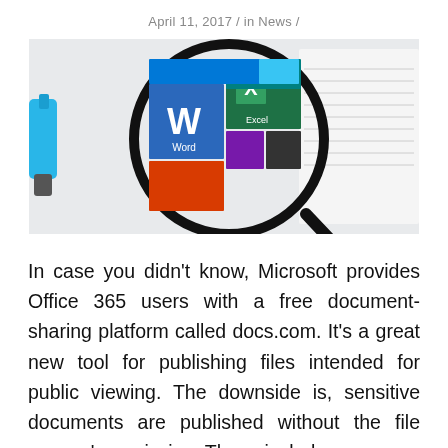April 11, 2017 / in News /
[Figure (photo): Photo of Microsoft Office app icons (Word and Excel visible) viewed through a magnifying glass, with a blue highlighter marker beside it]
In case you didn't know, Microsoft provides Office 365 users with a free document-sharing platform called docs.com. It's a great new tool for publishing files intended for public viewing. The downside is, sensitive documents are published without the file owners' permission. These include